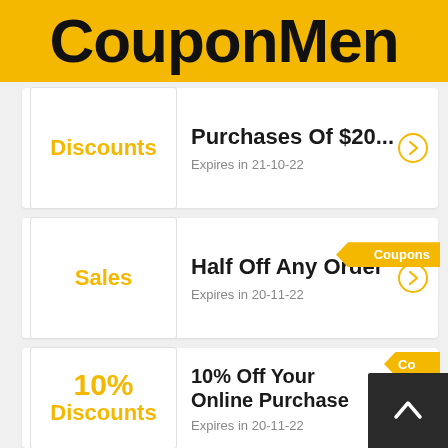[Figure (logo): CouponMen logo — black bold text on yellow/gold background]
Discounts | Purchases Of $20... | Expires in 21-10-22
Sales | Coupons ribbon | Half Off Any Order | Expires in 20-11-22
10% Discounts | Co... ribbon (partially hidden) | 10% Off Your Online Purchase | Expires in 20-11-22